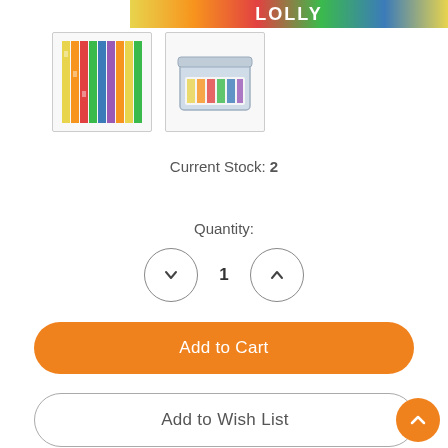[Figure (photo): Top banner with colorful candy/snack product branding]
[Figure (photo): Thumbnail image 1: colorful candy sticks close-up]
[Figure (photo): Thumbnail image 2: candy product in a clear plastic tub]
Current Stock: 2
Quantity:
1
Add to Cart
Add to Wish List